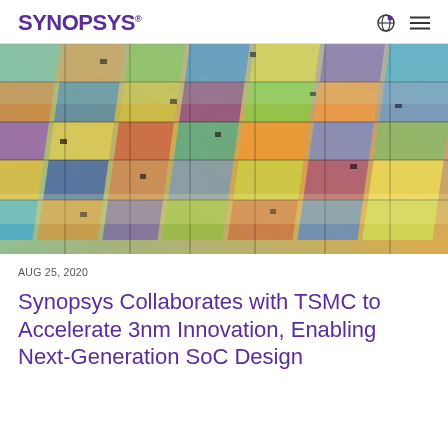SYNOPSYS
[Figure (photo): Close-up photograph of a semiconductor wafer showing colorful integrated circuit die in grid patterns with iridescent colors including green, yellow, orange, blue, purple, and teal]
AUG 25, 2020
Synopsys Collaborates with TSMC to Accelerate 3nm Innovation, Enabling Next-Generation SoC Design